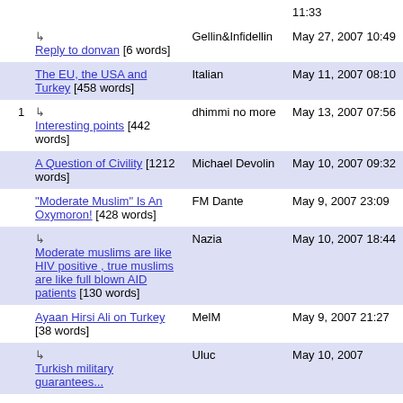| # | Title | Author | Date |
| --- | --- | --- | --- |
|  | Reply to donvan [6 words] | Gellin&Infidellin | May 27, 2007 10:49 |
|  | The EU, the USA and Turkey [458 words] | Italian | May 11, 2007 08:10 |
| 1 | Interesting points [442 words] | dhimmi no more | May 13, 2007 07:56 |
|  | A Question of Civility [1212 words] | Michael Devolin | May 10, 2007 09:32 |
|  | "Moderate Muslim" Is An Oxymoron! [428 words] | FM Dante | May 9, 2007 23:09 |
|  | Moderate muslims are like HIV positive , true muslims are like full blown AID patients [130 words] | Nazia | May 10, 2007 18:44 |
|  | Ayaan Hirsi Ali on Turkey [38 words] | MelM | May 9, 2007 21:27 |
|  | Turkish military guarantees... | Uluc | May 10, 2007 |